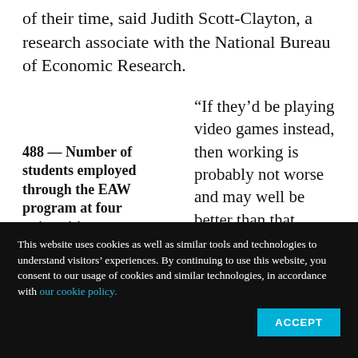of their time, said Judith Scott-Clayton, a research associate with the National Bureau of Economic Research.
488 — Number of students employed through the EAW program at four universities.
“If they’d be playing video games instead, then working is probably not worse and may well be better than that
This website uses cookies as well as similar tools and technologies to understand visitors’ experiences. By continuing to use this website, you consent to our usage of cookies and similar technologies, in accordance with our cookie policy.